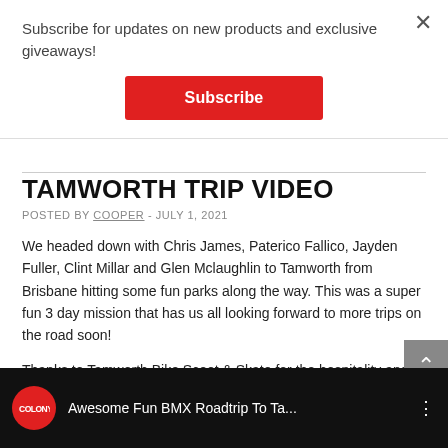Subscribe for updates on new products and exclusive giveaways!
Subscribe
TAMWORTH TRIP VIDEO
POSTED BY COOPER - JULY 1, 2021
We headed down with Chris James, Paterico Fallico, Jayden Fuller, Clint Millar and Glen Mclaughlin to Tamworth from Brisbane hitting some fun parks along the way. This was a super fun 3 day mission that has us all looking forward to more trips on the road soon!
Thanks to Tamworth Bike Scoot & Skate for the hospitality and good times.
[Figure (screenshot): YouTube video thumbnail showing Colony BMX logo and title 'Awesome Fun BMX Roadtrip To Ta...' on dark background]